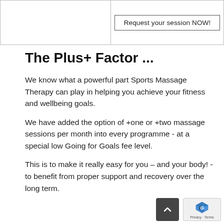|  | Request your session NOW! |
The Plus+ Factor ...
We know what a powerful part Sports Massage Therapy can play in helping you achieve your fitness and wellbeing goals.
We have added the option of +one or +two massage sessions per month into every programme - at a special low Going for Goals fee level.
This is to make it really easy for you – and your body! - to benefit from proper support and recovery over the long term.